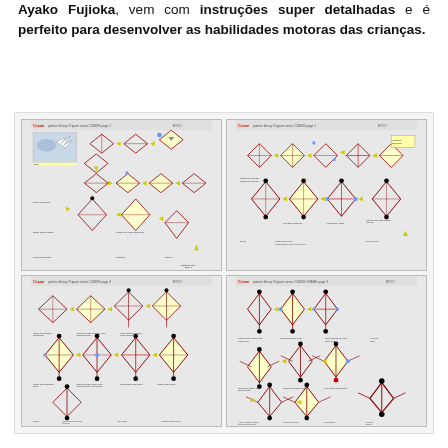Ayako Fujioka, vem com instruções super detalhadas e é perfeito para desenvolver as habilidades motoras das crianças.
[Figure (illustration): Four-panel origami crane instruction sheets showing step-by-step folding diagrams with yellow arrow chains connecting diamond/kite shapes in various stages of folding. Each panel is a page from the Crane/Origami series by Ayako Fujioka, with red titles and small instructional figures.]